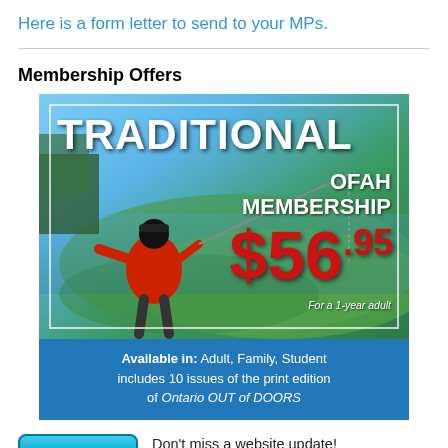Here is a form letter to send to your MPs.
Membership Offers
[Figure (illustration): OFAH Traditional Membership advertisement showing a person fishing over lily pads, with text: TRADITIONAL OFAH MEMBERSHIP $56.95 For a 1-year adult. Blue bar: Available in: Adult, Family, Student – includes 10 issues of the print edition of Ontario OUT of DOORS]
Don't miss a website update! Subscribe to OFAH.org E-News